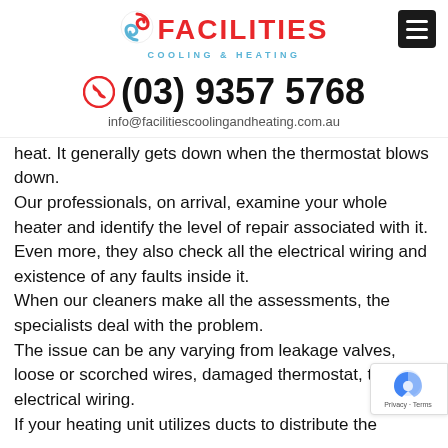[Figure (logo): Facilities Cooling & Heating logo with red and blue swirl icon, red FACILITIES text, blue COOLING & HEATING subtext, and black hamburger menu button on the right]
(03) 9357 5768
info@facilitiescoolingandheating.com.au
heat. It generally gets down when the thermostat blows down.
Our professionals, on arrival, examine your whole heater and identify the level of repair associated with it.
Even more, they also check all the electrical wiring and existence of any faults inside it.
When our cleaners make all the assessments, the specialists deal with the problem.
The issue can be any varying from leakage valves, loose or scorched wires, damaged thermostat, torn electrical wiring.
If your heating unit utilizes ducts to distribute the